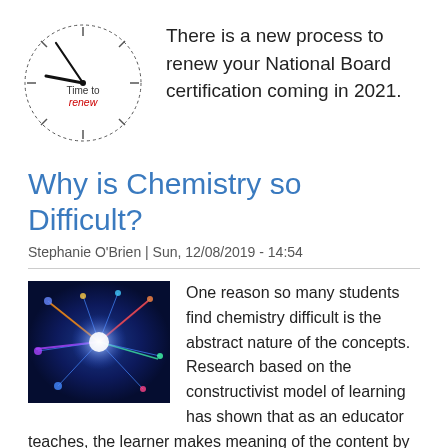[Figure (logo): Clock illustration with 'Time to renew' text in center, hands pointing to roughly 11:55]
There is a new process to renew your National Board certification coming in 2021.
Why is Chemistry so Difficult?
Stephanie O'Brien | Sun, 12/08/2019 - 14:54
[Figure (photo): Abstract blue glowing neural network or plasma ball image with colorful light streaks]
One reason so many students find chemistry difficult is the abstract nature of the concepts. Research based on the constructivist model of learning has shown that as an educator teaches, the learner makes meaning of the content by drawing from their background knowledge, attitude, abilities and everyday experience and this often results in a different construct than that of the